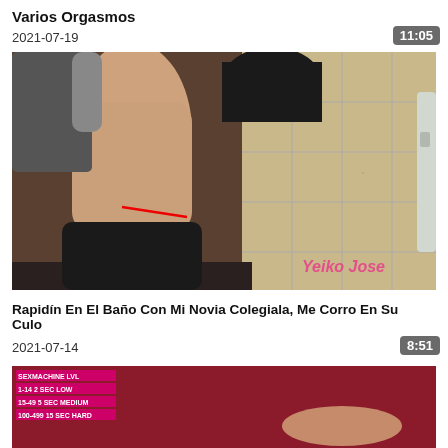Varios Orgasmos
2021-07-19
11:05
[Figure (photo): Video thumbnail showing two people in a bathroom, watermark reads 'Yeiko Jose' in pink text]
Rapidín En El Baño Con Mi Novia Colegiala, Me Corro En Su Culo
2021-07-14
8:51
[Figure (screenshot): Video thumbnail with dark red background and overlay text showing SEXMACHINE LVL settings: 1-14 2 SEC LOW, 15-49 5 SEC MEDIUM, 100-499 15 SEC HARD]